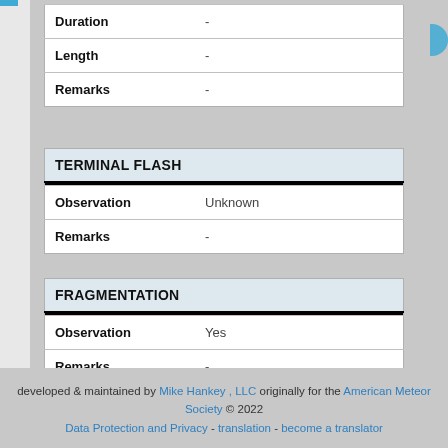|  |  |
| --- | --- |
| Duration | - |
| Length | - |
| Remarks | - |
| TERMINAL FLASH |  |
| --- | --- |
| Observation | Unknown |
| Remarks | - |
| FRAGMENTATION |  |
| --- | --- |
| Observation | Yes |
| Remarks | - |
developed & maintained by Mike Hankey , LLC originally for the American Meteor Society © 2022
Data Protection and Privacy - translation - become a translator